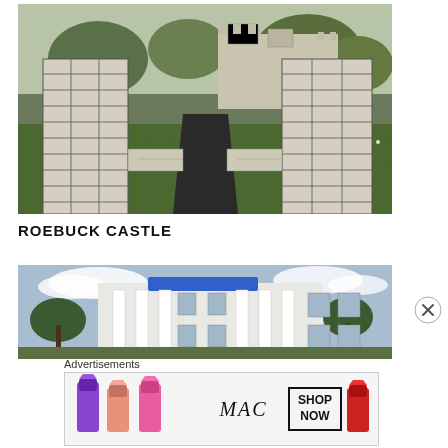[Figure (photo): Outdoor view of Roebuck Castle entrance with two tall stone/block pillars flanking a dark paved pathway, green ground cover with small white flowers, trees and a stone castle-like building in the background.]
ROEBUCK CASTLE
[Figure (photo): Front exterior of a large white two-story building with tall white columns in a Greek Revival or plantation style, blue object on the roof, cloudy sky background, trees on either side.]
Advertisements
[Figure (illustration): MAC Cosmetics advertisement showing colorful lipsticks (purple, peach, pink) on the left, MAC brand name in center, and a 'SHOP NOW' button box on the right, with a red lipstick on the far right.]